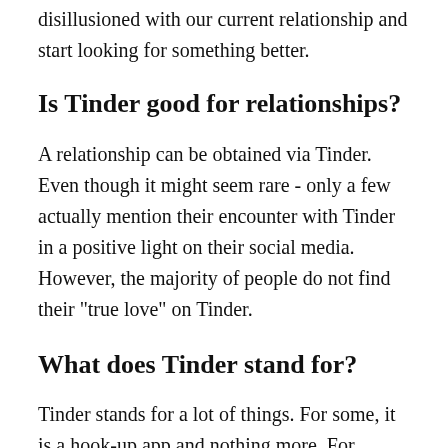disillusioned with our current relationship and start looking for something better.
Is Tinder good for relationships?
A relationship can be obtained via Tinder. Even though it might seem rare - only a few actually mention their encounter with Tinder in a positive light on their social media. However, the majority of people do not find their "true love" on Tinder.
What does Tinder stand for?
Tinder stands for a lot of things. For some, it is a hook-up app and nothing more. For others, it is a